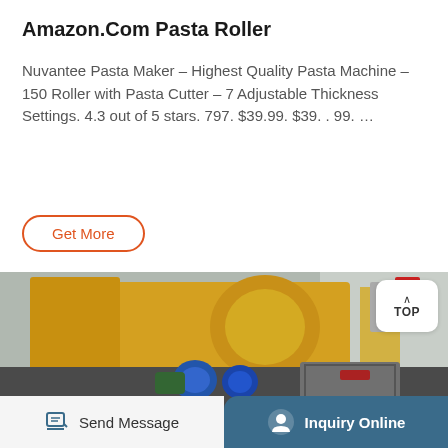Amazon.Com Pasta Roller
Nuvantee Pasta Maker - Highest Quality Pasta Machine - 150 Roller with Pasta Cutter - 7 Adjustable Thickness Settings. 4.3 out of 5 stars. 797. $39.99. $39. . 99. …
Get More
[Figure (photo): Industrial yellow roller/crusher machine in a factory setting with blue motors and gray components]
Send Message | Inquiry Online